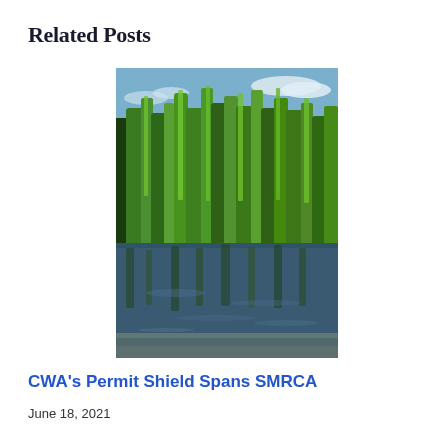Related Posts
[Figure (photo): Tall green marsh grass and reeds reflected in still water, with a blue sky and clouds in the background. A wetland scene photographed at low angle.]
CWA's Permit Shield Spans SMRCA
June 18, 2021